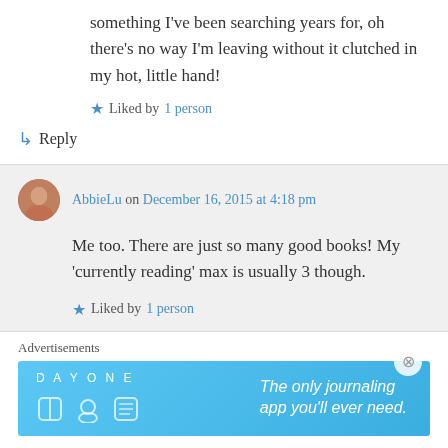something I've been searching years for, oh there's no way I'm leaving without it clutched in my hot, little hand!
★ Liked by 1 person
↳ Reply
AbbieLu on December 16, 2015 at 4:18 pm
Me too. There are just so many good books! My 'currently reading' max is usually 3 though.
★ Liked by 1 person
Advertisements
[Figure (other): Day One journaling app advertisement banner: 'The only journaling app you'll ever need.']